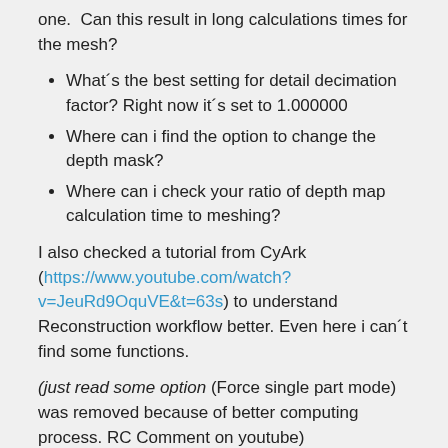one. Can this result in long calculations times for the mesh?
What´s the best setting for detail decimation factor? Right now it´s set to 1.000000
Where can i find the option to change the depth mask?
Where can i check your ratio of depth map calculation time to meshing?
I also checked a tutorial from CyArk (https://www.youtube.com/watch?v=JeuRd9OquVE&t=63s) to understand Reconstruction workflow better. Even here i can´t find some functions.
(just read some option (Force single part mode) was removed because of better computing process. RC Comment on youtube)